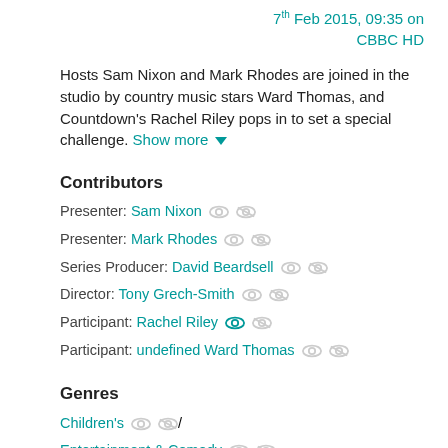7th Feb 2015, 09:35 on CBBC HD
Hosts Sam Nixon and Mark Rhodes are joined in the studio by country music stars Ward Thomas, and Countdown's Rachel Riley pops in to set a special challenge. Show more
Contributors
Presenter: Sam Nixon
Presenter: Mark Rhodes
Series Producer: David Beardsell
Director: Tony Grech-Smith
Participant: Rachel Riley
Participant: undefined Ward Thomas
Genres
Children's /
Entertainment & Comedy